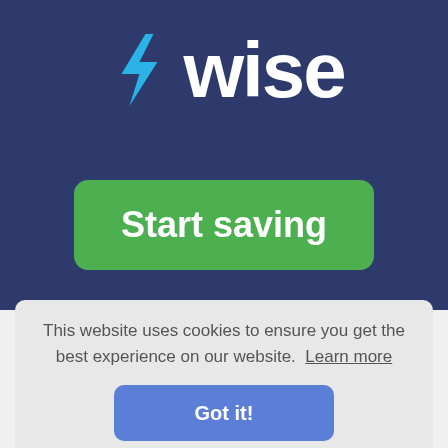[Figure (logo): Wise logo: blue lightning bolt arrow symbol followed by 'wise' in white bold text on dark navy background]
[Figure (other): Green rounded rectangle button with white bold text reading 'Start saving']
This website uses cookies to ensure you get the best experience on our website.  Learn more
[Figure (other): Blue rounded rectangle button with white bold text reading 'Got it!']